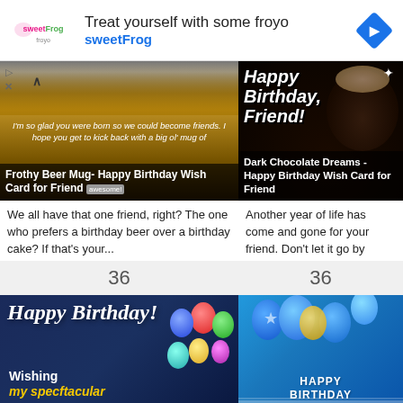[Figure (screenshot): SweetFrog froyo advertisement banner with logo, headline 'Treat yourself with some froyo', brand name 'sweetFrog', and navigation arrow icon]
[Figure (photo): Frothy Beer Mug - Happy Birthday Wish Card for Friend with golden beer mug image and birthday quote]
[Figure (photo): Dark Chocolate Dreams - Happy Birthday Wish Card for Friend with chocolate cupcake and 'Happy Birthday, Friend!' text]
We all have that one friend, right? The one who prefers a birthday beer over a birthday cake? If that's your...
Another year of life has come and gone for your friend. Don't let it go by unnoticed or uncelebrated! Send...
36
36
[Figure (photo): Happy Birthday card with dark blue background, cursive 'Happy Birthday!' text, 'Wishing my spectacular' text in white and yellow, with colorful balloons]
[Figure (photo): Happy Birthday card with blue background, balloons, stars, and 'HAPPY BIRTHDAY' text in circular frame]